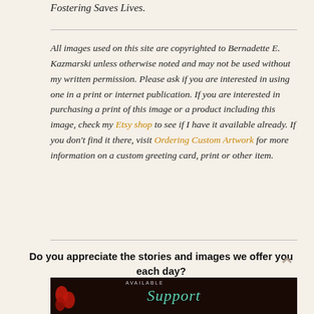Fostering Saves Lives.
All images used on this site are copyrighted to Bernadette E. Kazmarski unless otherwise noted and may not be used without my written permission. Please ask if you are interested in using one in a print or internet publication. If you are interested in purchasing a print of this image or a product including this image, check my Etsy shop to see if I have it available already. If you don't find it there, visit Ordering Custom Artwork for more information on a custom greeting card, print or other item.
Do you appreciate the stories and images we offer you each day?
[Figure (illustration): Dark banner image with script text reading 'Support' in teal/green color, with red floral shapes on the left side and small uppercase text above.]